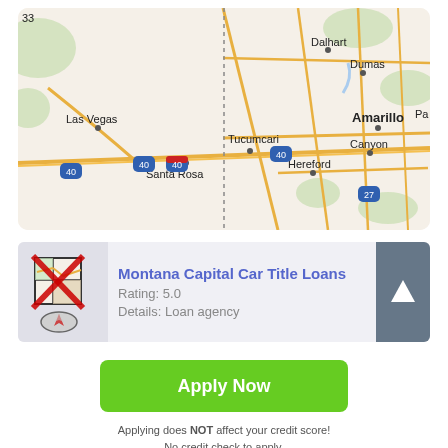[Figure (map): Road map showing southwestern US region including Las Vegas, Santa Rosa, Tucumcari, Dalhart, Dumas, Amarillo, Canyon, Hereford with highway markers including I-40 and highway 27. A vertical dotted line divides the map.]
Montana Capital Car Title Loans
Rating: 5.0
Details: Loan agency
Apply Now
Applying does NOT affect your credit score!
No credit check to apply.